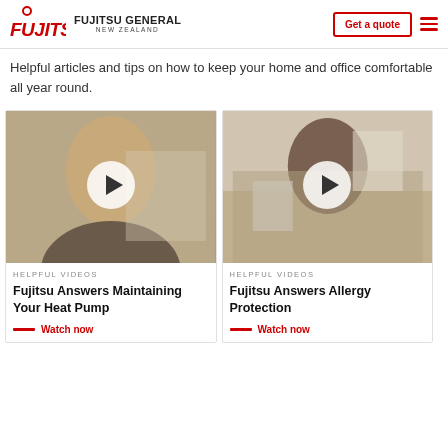FUJITSU GENERAL NEW ZEALAND | Get a quote
Helpful articles and tips on how to keep your home and office comfortable all year round.
[Figure (photo): Man holding air filter with play button overlay — video thumbnail]
HELPFUL VIDEOS
Fujitsu Answers Maintaining Your Heat Pump
Watch now
[Figure (photo): Woman surrounded by boxes with play button overlay — video thumbnail]
HELPFUL VIDEOS
Fujitsu Answers Allergy Protection
Watch now